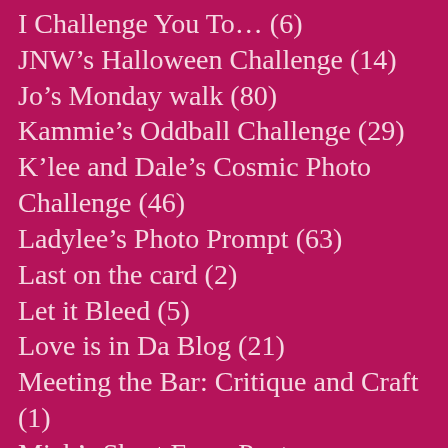I Challenge You To… (6)
JNW's Halloween Challenge (14)
Jo's Monday walk (80)
Kammie's Oddball Challenge (29)
K'lee and Dale's Cosmic Photo Challenge (46)
Ladylee's Photo Prompt (63)
Last on the card (2)
Let it Bleed (5)
Love is in Da Blog (21)
Meeting the Bar: Critique and Craft (1)
Mick's Short Form Poetry Challenge (4)
Microfiction challenge (3)
Misconceptions Month (30)